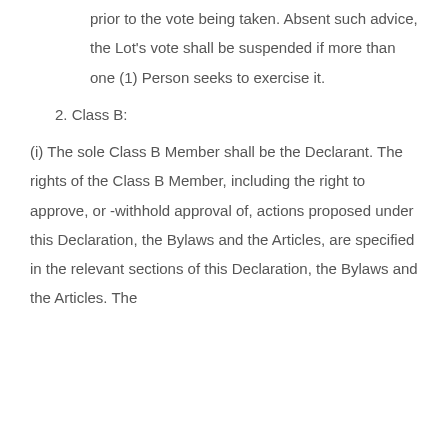prior to the vote being taken. Absent such advice, the Lot's vote shall be suspended if more than one (1) Person seeks to exercise it.
2. Class B:
(i) The sole Class B Member shall be the Declarant. The rights of the Class B Member, including the right to approve, or -withhold approval of, actions proposed under this Declaration, the Bylaws and the Articles, are specified in the relevant sections of this Declaration, the Bylaws and the Articles. The